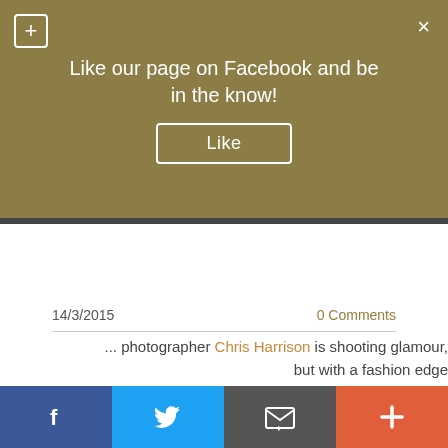[Figure (screenshot): Facebook like banner with gold/khaki background, plus icon top-left, X close icon top-right, text 'Like our page on Facebook and be in the know!' and a Like button]
grime and glamour ...
14/3/2015
0 Comments
... photographer Chris Harrison is shooting glamour, but with a fashion edge
[Figure (photo): Three black and white photographs side by side: left shows a blonde woman posing outdoors at night on brick steps, middle shows a bald bearded man with glasses holding a camera taking a selfie with a high-heeled shoe visible above, right shows a young woman posing near a building]
[Figure (screenshot): Social sharing bar at the bottom with four buttons: Facebook (blue), Twitter (light blue), Email/envelope (grey), and plus/add (orange-red)]